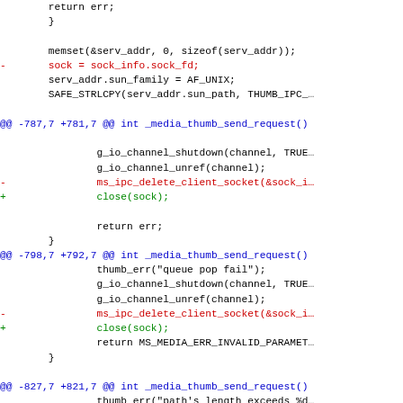Code diff showing changes to media thumb send request function, replacing ms_ipc_delete_client_socket calls with close(sock) calls